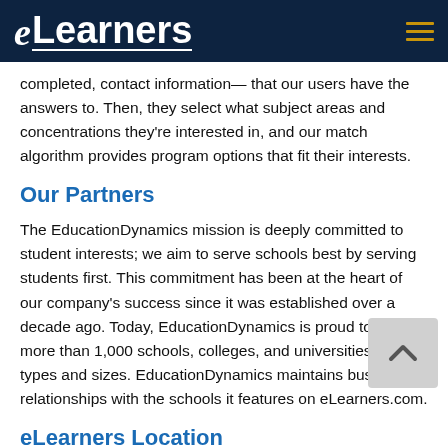eLearners
completed, contact information— that our users have the answers to. Then, they select what subject areas and concentrations they're interested in, and our match algorithm provides program options that fit their interests.
Our Partners
The EducationDynamics mission is deeply committed to student interests; we aim to serve schools best by serving students first. This commitment has been at the heart of our company's success since it was established over a decade ago. Today, EducationDynamics is proud to serve more than 1,000 schools, colleges, and universities of all types and sizes. EducationDynamics maintains business relationships with the schools it features on eLearners.com.
eLearners Location
EducationDynamics is a global leader connecting the...